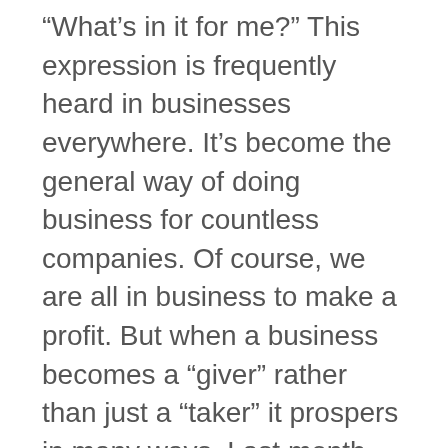“What’s in it for me?” This expression is frequently heard in businesses everywhere. It’s become the general way of doing business for countless companies. Of course, we are all in business to make a profit. But when a business becomes a “giver” rather than just a “taker” it prospers in many ways. Last month marked our 19th year in business. I’d like to share a principle with you that we have tried to apply in our business. This principle has shaped the way we run our company. But let me tell you a little bit about our company first. I started Pioneer Maintenance back in 1982 out of the trunk of a twenty year old Ford Falcon. In the beginning, I did